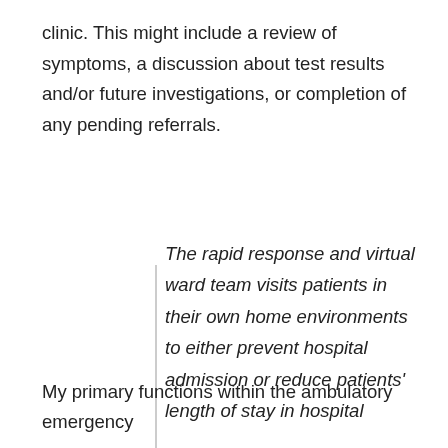clinic. This might include a review of symptoms, a discussion about test results and/or future investigations, or completion of any pending referrals.
The rapid response and virtual ward team visits patients in their own home environments to either prevent hospital admission or reduce patients' length of stay in hospital
My primary functions within the ambulatory emergency